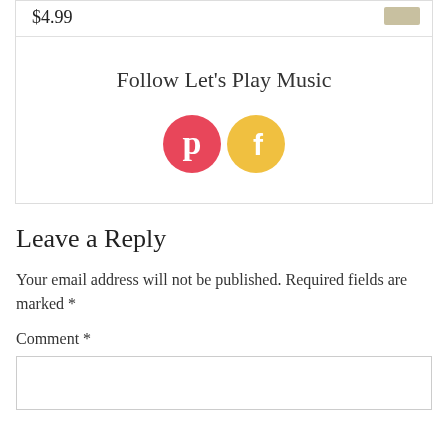$4.99
Follow Let's Play Music
[Figure (logo): Pinterest and Facebook social media icons — Pinterest pink circle with 'p' logo, Facebook yellow circle with 'f' logo]
Leave a Reply
Your email address will not be published. Required fields are marked *
Comment *